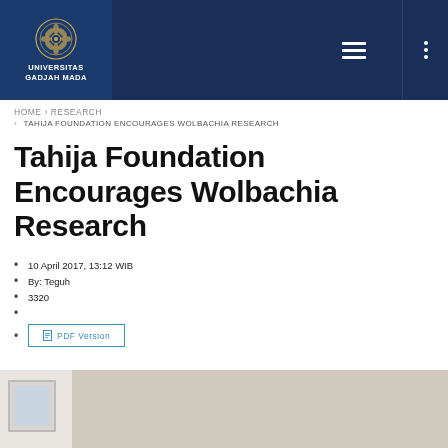[Figure (logo): Universitas Gadjah Mada logo with emblem and text on dark blue header bar with hamburger menu and dots button]
HOME › RESEARCH
› TAHIJA FOUNDATION ENCOURAGES WOLBACHIA RESEARCH
Tahija Foundation Encourages Wolbachia Research
10 April 2017, 13:12 WIB
By: Teguh
3320
PDF Version
[Figure (photo): Partial view of a room interior with a framed picture on the wall, beige/tan background]